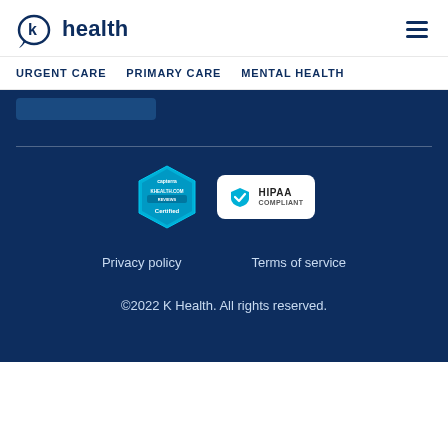[Figure (logo): K Health logo with speech bubble K icon and 'health' wordmark in dark blue]
URGENT CARE   PRIMARY CARE   MENTAL HEALTH
[Figure (illustration): Dark blue section with a partial CTA button visible at top]
[Figure (logo): Capterra KHEALTH.COM Certified badge (hexagonal shape, cyan/blue)]
[Figure (logo): HIPAA Compliant badge with shield checkmark icon on white background]
Privacy policy   Terms of service
©2022 K Health. All rights reserved.